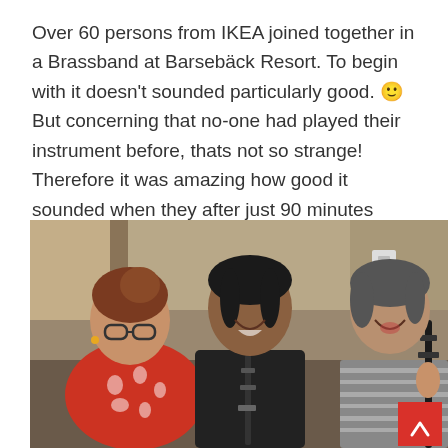Over 60 persons from IKEA joined together in a Brassband at Barsebäck Resort. To begin with it doesn't sounded particularly good. 🙂 But concerning that no-one had played their instrument before, thats not so strange! Therefore it was amazing how good it sounded when they after just 90 minutes played We Will Rock You together!
[Figure (photo): Three women laughing and smiling together in what appears to be a rehearsal room. The woman on the left wears a red and white patterned top and glasses. The woman in the center wears a black blazer with a clarinet. The woman on the right wears a striped top and holds a clarinet. A red scroll-to-top button is visible in the bottom right corner.]